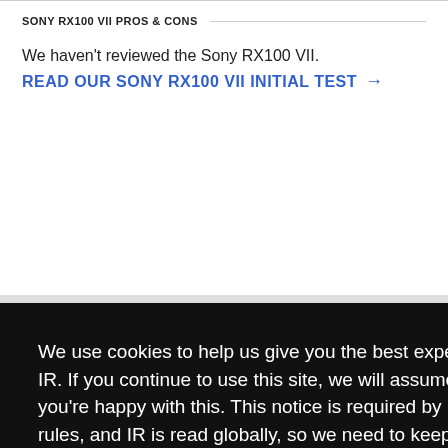SONY RX100 VII PROS & CONS
We haven't reviewed the Sony RX100 VII.
READ OUR SONY RX100 VII INITIAL TEST →
[Figure (photo): Two compact cameras partially visible at bottom of page — one purple/magenta on the left and one gold/champagne on the right with visible lens.]
We use cookies to help us give you the best experience on IR. If you continue to use this site, we will assume that you're happy with this. This notice is required by recent EU rules, and IR is read globally, so we need to keep the bureaucrats off our case!
Learn more
Got it!